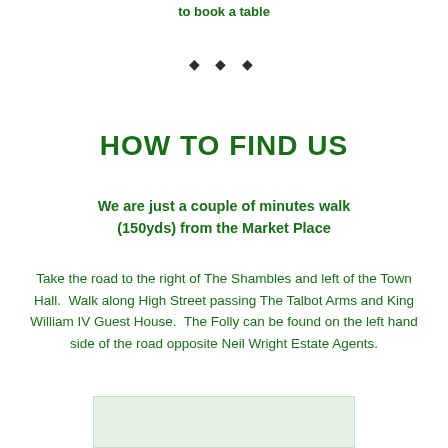to book a table
♦ ♦ ♦
HOW TO FIND US
We are just a couple of minutes walk (150yds) from the Market Place
Take the road to the right of The Shambles and left of the Town Hall.  Walk along High Street passing The Talbot Arms and King William IV Guest House.  The Folly can be found on the left hand side of the road opposite Neil Wright Estate Agents.
[Figure (map): Partial map visible at bottom of page]